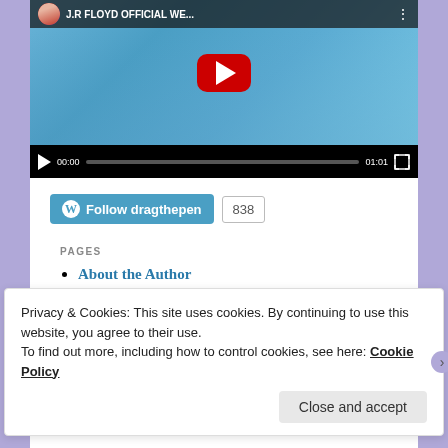[Figure (screenshot): YouTube video player showing J.R Floyd Official Website channel. Video thumbnail shows a woman against a blue background with a red YouTube play button overlay. Video controls show 00:00 / 01:01 with a progress bar and fullscreen icon.]
[Figure (other): WordPress Follow button for 'Follow dragthepen' with follower count of 838]
PAGES
About the Author
Privacy & Cookies: This site uses cookies. By continuing to use this website, you agree to their use.
To find out more, including how to control cookies, see here: Cookie Policy